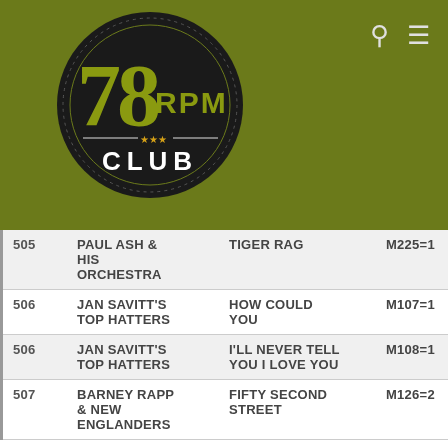[Figure (logo): 78 RPM Club circular logo on olive green background with search and menu icons]
| # | Artist | Title | Code |  |
| --- | --- | --- | --- | --- |
| 505 | PAUL ASH & HIS ORCHESTRA | TIGER RAG | M225=1 | – |
| 506 | JAN SAVITT'S TOP HATTERS | HOW COULD YOU | M107=1 | – |
| 506 | JAN SAVITT'S TOP HATTERS | I'LL NEVER TELL YOU I LOVE YOU | M108=1 | – |
| 507 | BARNEY RAPP & NEW ENGLANDERS | FIFTY SECOND STREET | M126=2 | – |